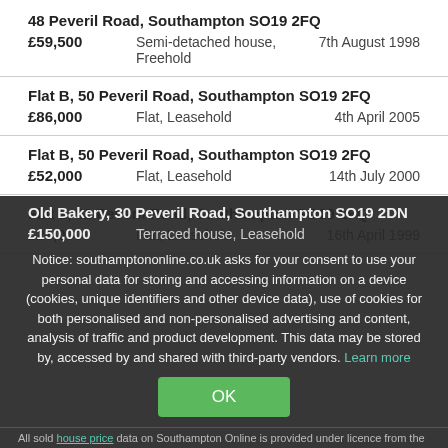48 Peveril Road, Southampton SO19 2FQ
£59,500   Semi-detached house, Freehold   7th August 1998
Flat B, 50 Peveril Road, Southampton SO19 2FQ
£86,000   Flat, Leasehold   4th April 2005
Flat B, 50 Peveril Road, Southampton SO19 2FQ
£52,000   Flat, Leasehold   14th July 2000
Flat 2, 52 Peveril Road, Southampton SO19 2FQ
£26,000   Flat, Leasehold   16th April 1999
Old Bakery, 30 Peveril Road, Southampton SO19 2DN
£150,000   Terraced house, Leasehold
Notice: southamptononline.co.uk asks for your consent to use your personal data for storing and accessing information on a device (cookies, unique identifiers and other device data), use of cookies for both personalised and non-personalised advertising and content, analysis of traffic and product development. This data may be stored by, accessed by and shared with third-party vendors. Learn more
OK
All sold house price data on Southampton Online is provided under licence from the